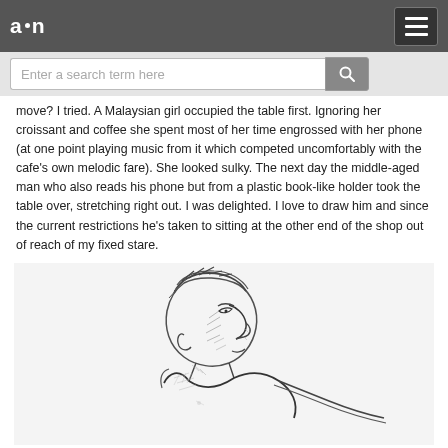a·n
Enter a search term here
move? I tried. A Malaysian girl occupied the table first. Ignoring her croissant and coffee she spent most of her time engrossed with her phone (at one point playing music from it which competed uncomfortably with the cafe's own melodic fare). She looked sulky. The next day the middle-aged man who also reads his phone but from a plastic book-like holder took the table over, stretching right out. I was delighted. I love to draw him and since the current restrictions he's taken to sitting at the other end of the shop out of reach of my fixed stare.
[Figure (illustration): Pencil sketch of a middle-aged man in profile, leaning forward, rendered in loose gestural lines. The figure shows head, shoulders and upper torso with hatching and cross-hatching to suggest form and shadow.]